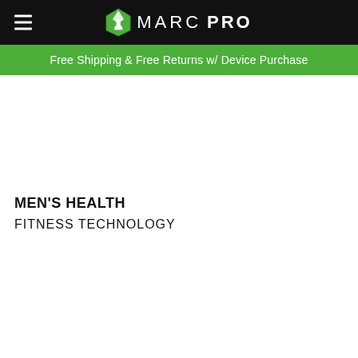MARC PRO
Free Shipping & Free Returns w/ Device Purchase
MEN'S HEALTH
FITNESS TECHNOLOGY